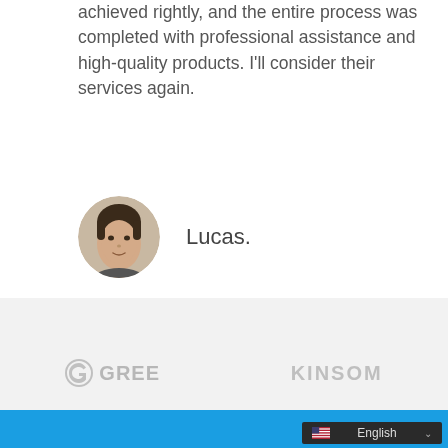achieved rightly, and the entire process was completed with professional assistance and high-quality products. I'll consider their services again.
[Figure (photo): Circular avatar photo of a man named Lucas, dark hair, looking forward]
Lucas.
[Figure (logo): GREE brand logo in grey]
[Figure (logo): KINSOM brand logo in grey]
English